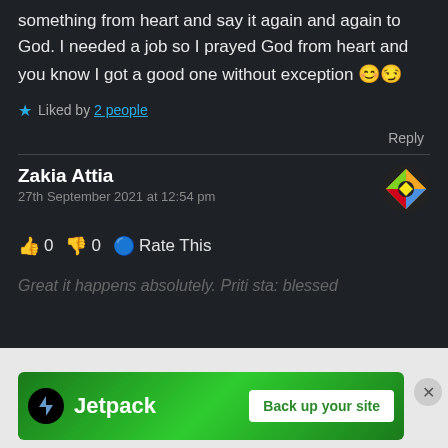something from heart and say it again and again to God. I needed a job so I prayed God from heart and you know I got a good one without exception 😊😏
★ Liked by 2 people
Reply
Zakia Attia
27th September 2021 at 12:54 pm
👍 0 👎 0 🔵 Rate This
Great it happens absolutely. Priti sta: blessed...
[Figure (logo): Jetpack logo and Back up your site banner advertisement on green background]